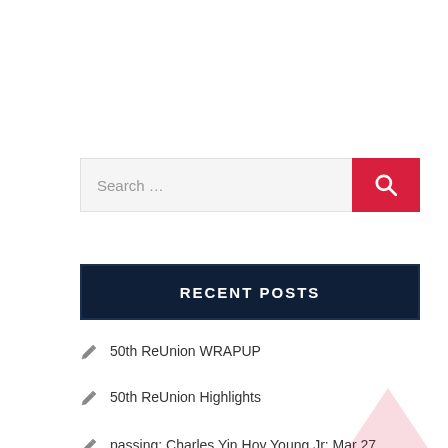[Figure (screenshot): Search bar with text placeholder 'Search ...' and a red button with a magnifying glass icon]
RECENT POSTS
50th ReUnion WRAPUP
50th ReUnion Highlights
passing; Charles Yin Hoy Young Jr: Mar 27, 1951–May 28, 2019